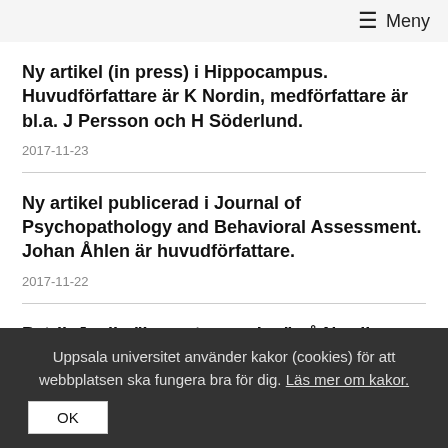☰ Meny
Ny artikel (in press) i Hippocampus. Huvudförfattare är K Nordin, medförfattare är bl.a. J Persson och H Söderlund.
2017-11-23
Ny artikel publicerad i Journal of Psychopathology and Behavioral Assessment. Johan Åhlen är huvudförfattare.
2017-11-22
Patrik Juslin "keynote speaker" på Nordic Music Therapy Conference april 2018
Uppsala universitet använder kakor (cookies) för att webbplatsen ska fungera bra för dig. Läs mer om kakor.
OK